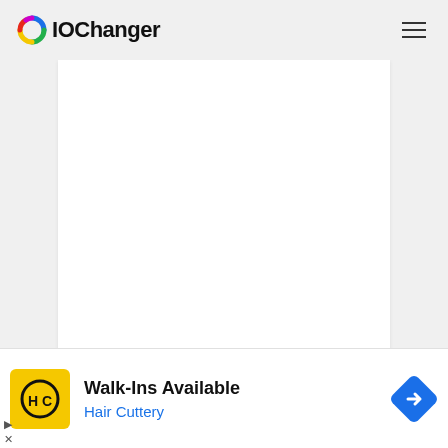IOChanger
[Figure (screenshot): White blank content area (IOChanger web app canvas area)]
Singapore Edit
[Figure (infographic): Advertisement banner: Hair Cuttery - Walk-Ins Available, with yellow HC logo and blue navigation arrow icon]